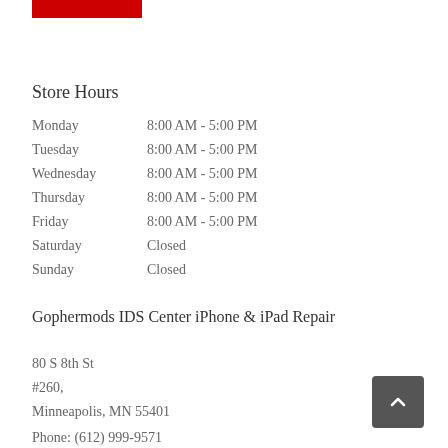[Figure (logo): Red rectangular bar at top left, partial logo element]
Store Hours
| Day | Hours |
| --- | --- |
| Monday | 8:00 AM - 5:00 PM |
| Tuesday | 8:00 AM - 5:00 PM |
| Wednesday | 8:00 AM - 5:00 PM |
| Thursday | 8:00 AM - 5:00 PM |
| Friday | 8:00 AM - 5:00 PM |
| Saturday | Closed |
| Sunday | Closed |
Gophermods IDS Center iPhone & iPad Repair
80 S 8th St
#260,
Minneapolis, MN 55401
Phone: (612) 999-9571